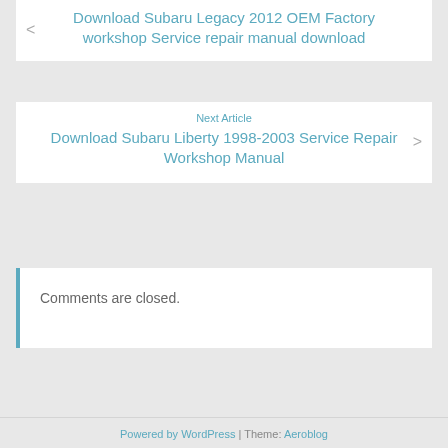< Download Subaru Legacy 2012 OEM Factory workshop Service repair manual download
Next Article
Download Subaru Liberty 1998-2003 Service Repair Workshop Manual >
Comments are closed.
Powered by WordPress | Theme: Aeroblog